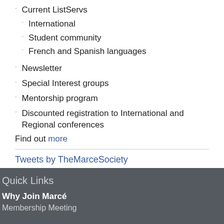Current ListServs
International
Student community
French and Spanish languages
Newsletter
Special Interest groups
Mentorship program
Discounted registration to International and Regional conferences
Find out more
Tweets by TheMarceSociety
Quick Links
Why Join Marcé
Membership Meeting